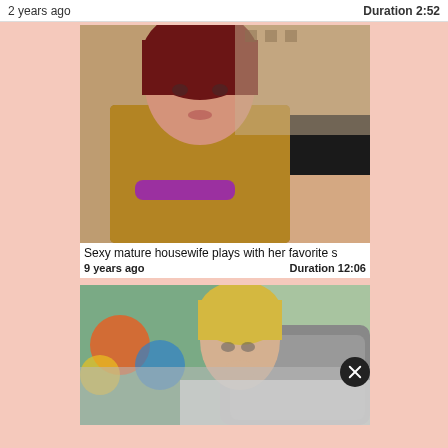2 years ago     Duration 2:52
[Figure (photo): Mature woman in leopard print top sitting on couch]
Sexy mature housewife plays with her favorite s
9 years ago     Duration 12:06
[Figure (photo): Blonde woman on gray couch, partially obscured by gray overlay with close button]